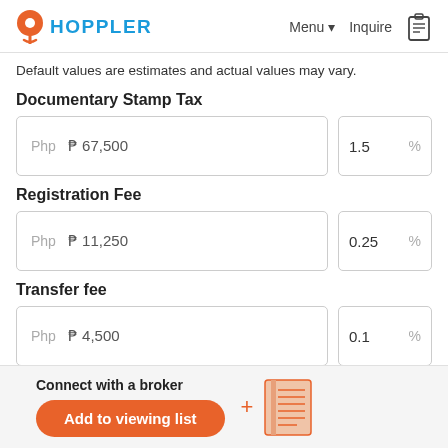HOPPLER | Menu | Inquire
Default values are estimates and actual values may vary.
Documentary Stamp Tax
Php  ₱ 67,500   |   1.5  %
Registration Fee
Php  ₱ 11,250   |   0.25  %
Transfer fee
Php  ₱ 4,500   |   0.1  %
Connect with a broker
Add to viewing list